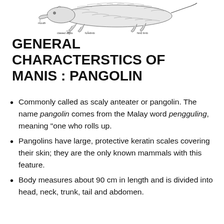[Figure (illustration): A detailed pencil sketch/diagram of a pangolin (Manis) from the side, with labeled anatomical parts: mouth, clawed digits, forelimb, hind limb. The animal is shown walking with its scaled body clearly visible.]
GENERAL CHARACTERSTICS OF MANIS : PANGOLIN
Commonly called as scaly anteater or pangolin. The name pangolin comes from the Malay word pengguling, meaning "one who rolls up.
Pangolins have large, protective keratin scales covering their skin; they are the only known mammals with this feature.
Body measures about 90 cm in length and is divided into head, neck, trunk, tail and abdomen.